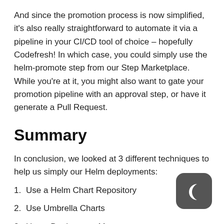And since the promotion process is now simplified, it's also really straightforward to automate it via a pipeline in your CI/CD tool of choice – hopefully Codefresh! In which case, you could simply use the helm-promote step from our Step Marketplace. While you're at it, you might also want to gate your promotion pipeline with an approval step, or have it generate a Pull Request.
Summary
In conclusion, we looked at 3 different techniques to help us simply our Helm deployments:
1. Use a Helm Chart Repository
2. Use Umbrella Charts
3. Use a Deployment Monorepo
[Figure (logo): Codefresh logo — dark gray rounded square with a white crescent moon symbol]